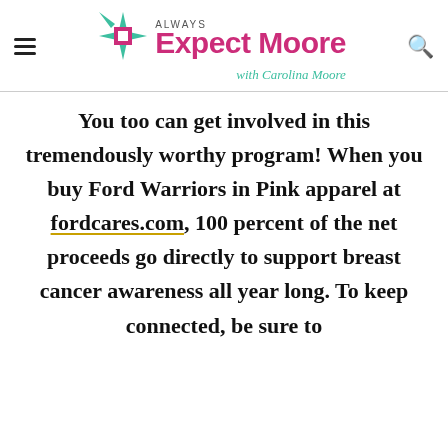Always Expect Moore with Carolina Moore
You too can get involved in this tremendously worthy program! When you buy Ford Warriors in Pink apparel at fordcares.com, 100 percent of the net proceeds go directly to support breast cancer awareness all year long. To keep connected, be sure to